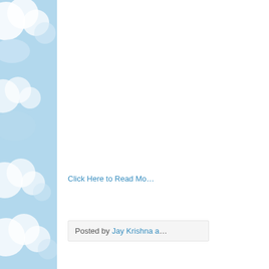[Figure (illustration): Left sidebar with light blue sky and clouds background illustration]
Click Here to Read Mo…
Posted by Jay Krishna a…
'Then And N…
Time waits for no o…
cannot be changed…